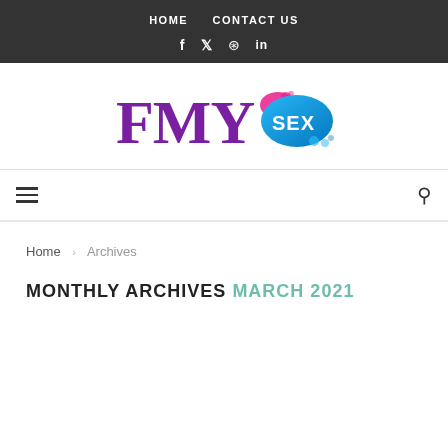HOME   CONTACT US
[Figure (logo): FMYSEX logo with purple FMY text and blue/pink SEX bubble graphic]
hamburger menu icon and search icon
Home › Archives
MONTHLY ARCHIVES MARCH 2021